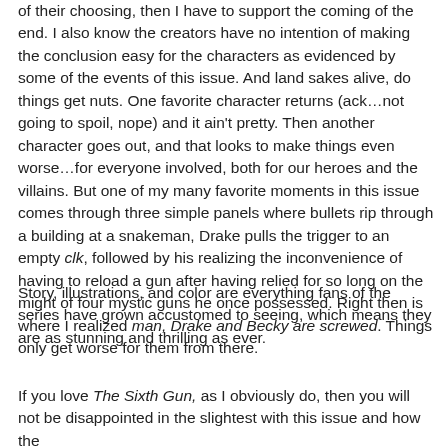of their choosing, then I have to support the coming of the end. I also know the creators have no intention of making the conclusion easy for the characters as evidenced by some of the events of this issue. And land sakes alive, do things get nuts. One favorite character returns (ack…not going to spoil, nope) and it ain't pretty. Then another character goes out, and that looks to make things even worse…for everyone involved, both for our heroes and the villains. But one of my many favorite moments in this issue comes through three simple panels where bullets rip through a building at a snakeman, Drake pulls the trigger to an empty clk, followed by his realizing the inconvenience of having to reload a gun after having relied for so long on the might of four mystic guns he once possessed. Right then is where I realized man, Drake and Becky are screwed. Things only get worse for them from there.
Story, illustrations, and color are everything fans of the series have grown accustomed to seeing, which means they are as stunning and thrilling as ever.
If you love The Sixth Gun, as I obviously do, then you will not be disappointed in the slightest with this issue and how the